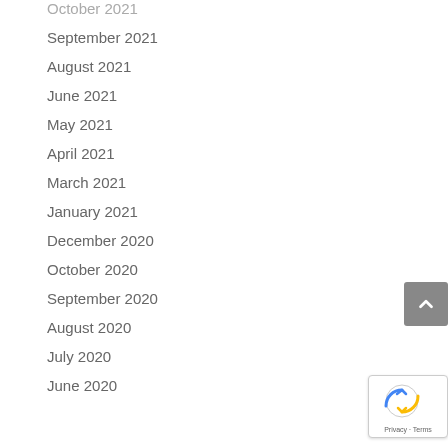October 2021
September 2021
August 2021
June 2021
May 2021
April 2021
March 2021
January 2021
December 2020
October 2020
September 2020
August 2020
July 2020
June 2020